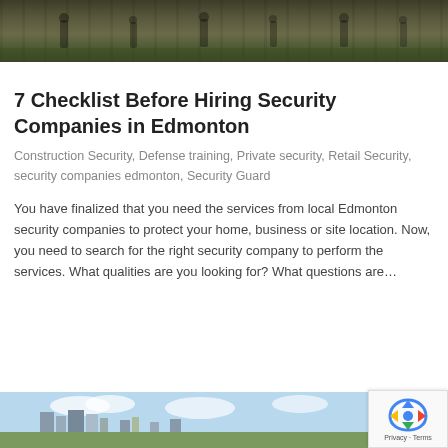[Figure (photo): Photo of people on a field, appears to be security or military training exercise outdoors on grass]
7 Checklist Before Hiring Security Companies in Edmonton
Construction Security, Defense training, Private security, Retail Security, security companies edmonton, Security Guard
You have finalized that you need the services from local Edmonton security companies to protect your home, business or site location. Now, you need to search for the right security company to perform the services. What qualities are you looking for? What questions are…
[Figure (photo): Photo of Edmonton city skyline with buildings and blue cloudy sky]